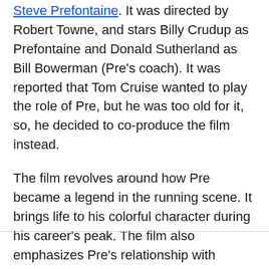Steve Prefontaine. It was directed by Robert Towne, and stars Billy Crudup as Prefontaine and Donald Sutherland as Bill Bowerman (Pre's coach). It was reported that Tom Cruise wanted to play the role of Pre, but he was too old for it, so, he decided to co-produce the film instead.
The film revolves around how Pre became a legend in the running scene. It brings life to his colorful character during his career's peak. The film also emphasizes Pre's relationship with running and his coach, Bowerman.